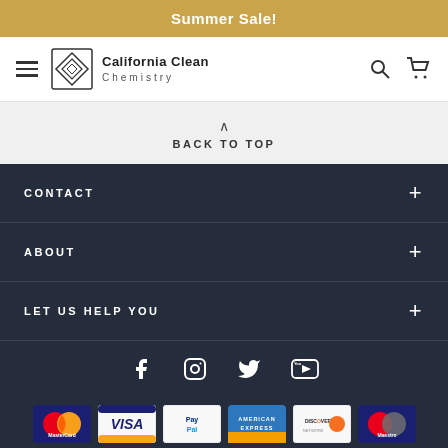Summer Sale!
[Figure (logo): California Clean Chemistry logo with diamond geometric icon and text]
BACK TO TOP
CONTACT +
ABOUT +
LET US HELP YOU +
[Figure (infographic): Social media icons: Facebook, Instagram, Twitter, YouTube]
[Figure (infographic): Payment method logos: MasterCard, Visa, PayPal, American Express, Discover, Maestro]